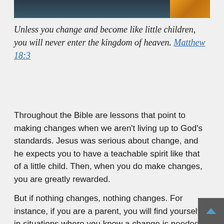[Figure (photo): Top portion of a photo showing children or people, with dark teal/blue tones on the left and orange/yellow tones on the right]
Unless you change and become like little children, you will never enter the kingdom of heaven. Matthew 18:3
Throughout the Bible are lessons that point to making changes when we aren't living up to God's standards. Jesus was serious about change, and he expects you to have a teachable spirit like that of a little child. Then, when you do make changes, you are greatly rewarded.
But if nothing changes, nothing changes. For instance, if you are a parent, you will find yourself in situations where you know a change is needed